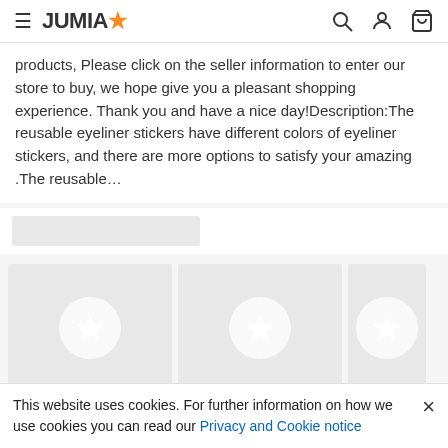JUMIA (logo with star icon), hamburger menu, search icon, account icon, cart icon
products, Please click on the seller information to enter our store to buy, we hope give you a pleasant shopping experience. Thank you and have a nice day!Description:The reusable eyeliner stickers have different colors of eyeliner stickers, and there are more options to satisfy your amazing .The reusable…
[Figure (other): Gray placeholder bar for a content section]
[Figure (other): Three product image cards with gray background and white star-circle placeholder icons]
[Figure (other): Action bar with phone icon button and orange ADD TO CART button with cart icon]
This website uses cookies. For further information on how we use cookies you can read our Privacy and Cookie notice